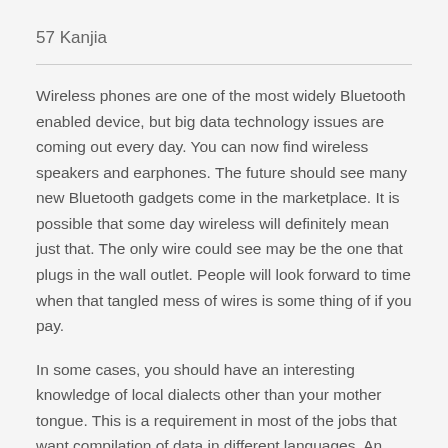57 Kanjia
Wireless phones are one of the most widely Bluetooth enabled device, but big data technology issues are coming out every day. You can now find wireless speakers and earphones. The future should see many new Bluetooth gadgets come in the marketplace. It is possible that some day wireless will definitely mean just that. The only wire could see may be the one that plugs in the wall outlet. People will look forward to time when that tangled mess of wires is some thing of if you pay.
In some cases, you should have an interesting knowledge of local dialects other than your mother tongue. This is a requirement in most of the jobs that want compilation of data in different languages. An individual don't need to worry because most of these entry effort is very less in